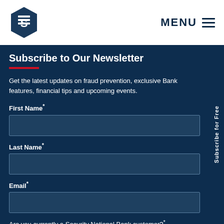S [logo] MENU ≡
Subscribe to Our Newsletter
Get the latest updates on fraud prevention, exclusive Bank features, financial tips and upcoming events.
First Name*
Last Name*
Email*
Are you currently a Security National Bank customer?*
Yes
No
Subscribe for Free